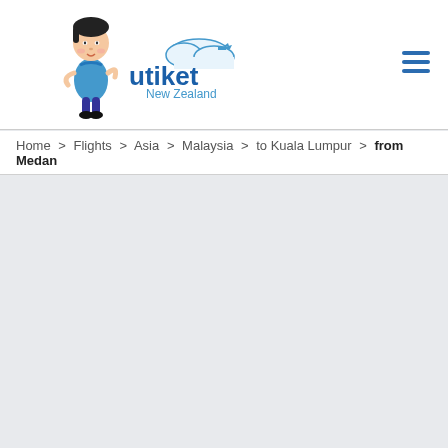utiket New Zealand
Home > Flights > Asia > Malaysia > to Kuala Lumpur > from Medan